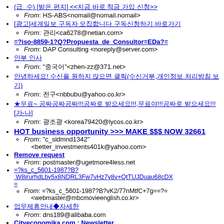(급 수) [받은 편지] <<지금 바로 적금 가입 신청>> From: HS-ABS<nomail@nomail.nomail>
[광고]세계일보 구독자 모집합니다 구독신청하기 바로가기 From: 관리<ca6278@netian.com>
=?iso-8859-1?Q?Propuesta_de_Consultor=EDa?= From: DAP Consulting <noreply@server.com>
안부 인사 From: "중국어"<zhen-zz@371.net>
안녕하세요! 수신을 원하지 않으면 클릭(수신거부,개인정보 처리방침 보기) From: 전구<nbbubu@yahoo.co.kr>
★무료~ 공짜공짜공짜!!!공짜로 받으세요!!!,무료야!!!공짜로 받으세요!!![가-나] From: 광조광 <korea79420@lycos.co.kr>
HOT business opportunity >>> MAKE $$$ NOW 32661 From: "c_sldmnd1342" <better_investments401k@yahoo.com>
Remove request From: postmaster@ugetmore4less.net
=?ks_c_5601-1987?B?W8irurhdLbv5x8NDRL3Fw7vHz7y8v+QtTUJDuau68cDX= From: =?ks_c_5601-1987?B?vK2/77nMtfC+7g==?= <webmaster@mbcmovieenglish.co.kr>
업무제휴안내◆자세한 From: dns189@alibaba.com
Cityeconomika.com : Newsletter